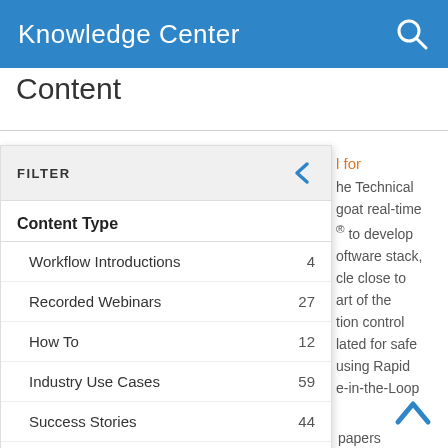Knowledge Center
Content
FILTER
Content Type
Workflow Introductions  4
Recorded Webinars  27
How To  12
Industry Use Cases  59
Success Stories  44
Reference Applications  7
✓ Whitepapers  4
l for
he Technical
goat real-time
® to develop
oftware stack,
cle close to
art of the
tion control
lated for safe
using Rapid
e-in-the-Loop
papers